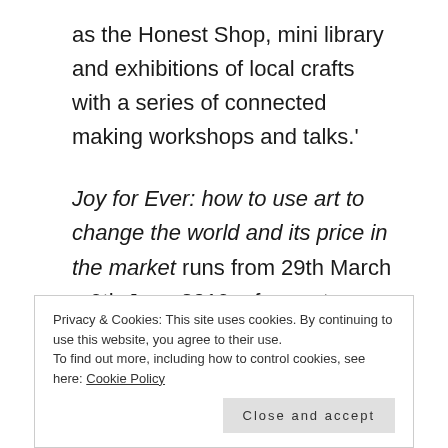as the Honest Shop, mini library and exhibitions of local crafts with a series of connected making workshops and talks.'
Joy for Ever: how to use art to change the world and its price in the market runs from 29th March – 9th June 2019 – free entry
The Whitworth, The University of Manchester, Oxford Road, Manchester M15 6ER
Privacy & Cookies: This site uses cookies. By continuing to use this website, you agree to their use. To find out more, including how to control cookies, see here: Cookie Policy
Close and accept
this and other exhibitions before visiting